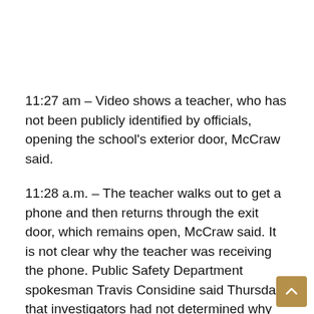11:27 am – Video shows a teacher, who has not been publicly identified by officials, opening the school's exterior door, McCraw said.
11:28 a.m. – The teacher walks out to get a phone and then returns through the exit door, which remains open, McCraw said. It is not clear why the teacher was receiving the phone. Public Safety Department spokesman Travis Considine said Thursday that investigators had not determined why the door was open.
11:28 a.m. – Ramos crashes the pickup into a drainage ditch behind the school, McCraw said. Two men at a nearby funeral